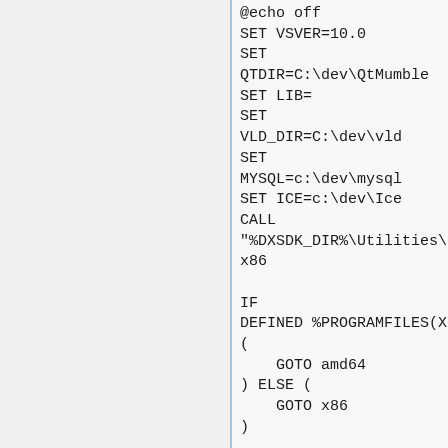[Figure (screenshot): Code editor screenshot showing a batch script with SET commands, CALL, IF/ELSE block for architecture detection, and :amd64 label]
@echo off
SET VSVER=10.0
SET QTDIR=C:\dev\QtMumble
SET LIB=
SET VLD_DIR=C:\dev\vld
SET MYSQL=c:\dev\mysql
SET ICE=c:\dev\Ice
CALL "%DXSDK_DIR%\Utilities\bi
x86

IF
DEFINED %PROGRAMFILES(X86
(
    GOTO amd64
) ELSE (
    GOTO x86
)

:amd64
SET
PROGPATH=%PROGRAMFILES(X8